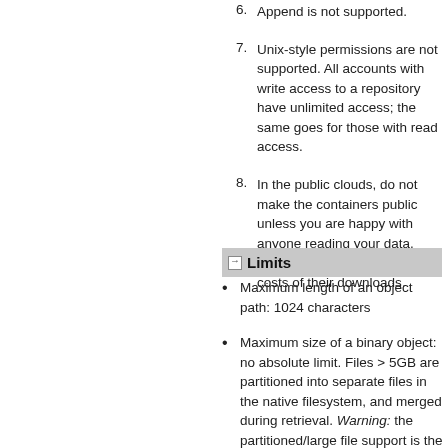6. Append is not supported.
7. Unix-style permissions are not supported. All accounts with write access to a repository have unlimited access; the same goes for those with read access.
8. In the public clouds, do not make the containers public unless you are happy with anyone reading your data, and are prepared to pay the costs of their downloads.
Limits
Maximum length of an object path: 1024 characters
Maximum size of a binary object: no absolute limit. Files > 5GB are partitioned into separate files in the native filesystem, and merged during retrieval. Warning: the partitioned/large file support is the most complex part of the Hadoop/Swift FS integration, and, along with